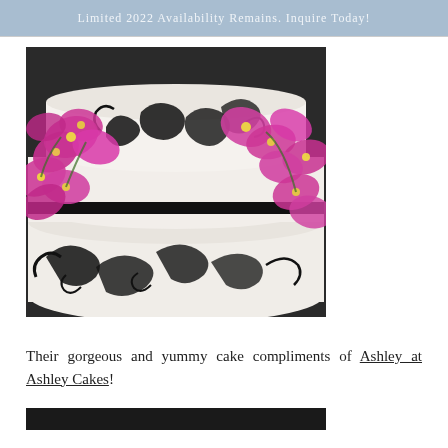Limited 2022 Availability Remains. Inquire Today!
[Figure (photo): A multi-tiered white wedding cake decorated with ornate black scrollwork/flourishes and pink/purple orchids cascading over the tiers.]
Their gorgeous and yummy cake compliments of Ashley at Ashley Cakes!
[Figure (photo): Partial view of a dark-colored image at the bottom of the page (cropped).]